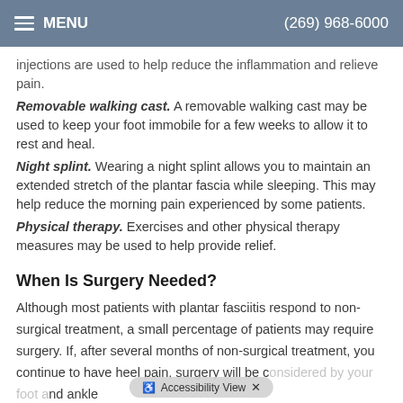MENU   (269) 968-6000
injections are used to help reduce the inflammation and relieve pain.
Removable walking cast. A removable walking cast may be used to keep your foot immobile for a few weeks to allow it to rest and heal.
Night splint. Wearing a night splint allows you to maintain an extended stretch of the plantar fascia while sleeping. This may help reduce the morning pain experienced by some patients.
Physical therapy. Exercises and other physical therapy measures may be used to help provide relief.
When Is Surgery Needed?
Although most patients with plantar fasciitis respond to non-surgical treatment, a small percentage of patients may require surgery. If, after several months of non-surgical treatment, you continue to have heel pain, surgery will be considered by your foot and ankle